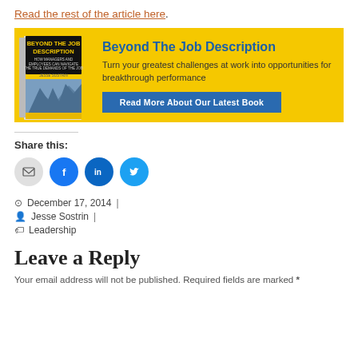Read the rest of the article here.
[Figure (illustration): Book advertisement banner for 'Beyond The Job Description' by Jesse Sostrin. Yellow background with book cover image on left, title and description on right, and a blue 'Read More About Our Latest Book' button.]
Share this:
[Figure (illustration): Social sharing icons: email (grey circle), Facebook (blue circle), LinkedIn (dark blue circle), Twitter (light blue circle)]
December 17, 2014  |
Jesse Sostrin  |
Leadership
Leave a Reply
Your email address will not be published. Required fields are marked *